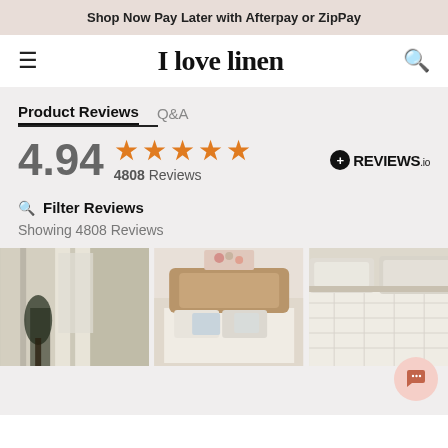Shop Now Pay Later with Afterpay or ZipPay
I love linen
Product Reviews  Q&A
4.94  ★★★★★  4808 Reviews  REVIEWS.io
Filter Reviews
Showing 4808 Reviews
[Figure (photo): Three thumbnail photos of linen bedroom products: sheer curtains, a bed with pillows, and a quilted bedspread with pillows.]